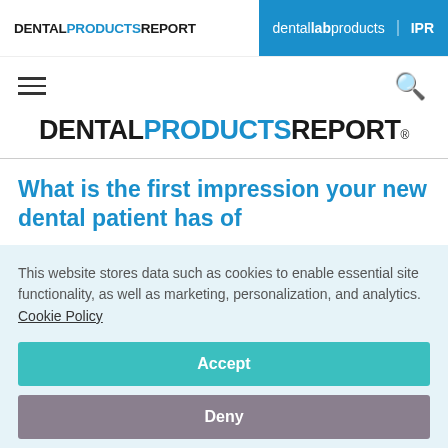DENTAL PRODUCTS REPORT | dental lab products | IPR
[Figure (logo): Dental Products Report logo (small, in header nav bar) and dental lab products logo on blue background, plus IPR logo partially visible]
[Figure (logo): DENTAL PRODUCTS REPORT main logo, large centered with registered trademark symbol]
What is the first impression your new dental patient has of
This website stores data such as cookies to enable essential site functionality, as well as marketing, personalization, and analytics. Cookie Policy
Accept
Deny